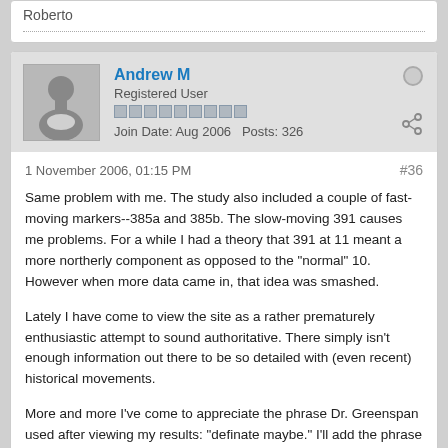Roberto
Andrew M
Registered User
Join Date: Aug 2006   Posts: 326
1 November 2006, 01:15 PM
#36
Same problem with me. The study also included a couple of fast-moving markers--385a and 385b. The slow-moving 391 causes me problems. For a while I had a theory that 391 at 11 meant a more northerly component as opposed to the "normal" 10. However when more data came in, that idea was smashed.
Lately I have come to view the site as a rather prematurely enthusiastic attempt to sound authoritative. There simply isn't enough information out there to be so detailed with (even recent) historical movements.
More and more I've come to appreciate the phrase Dr. Greenspan used after viewing my results: "definate maybe." I'll add the phrase to it that polititians have to memorize: "these things take time."